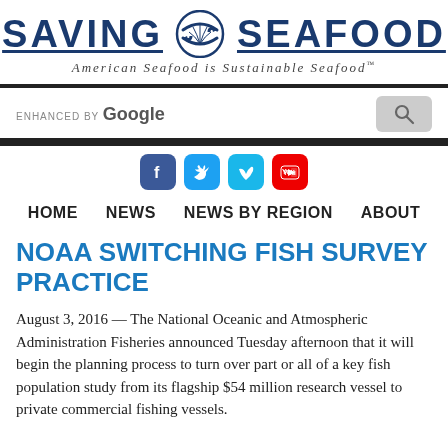[Figure (logo): Saving Seafood logo with fish icon, text reads SAVING SEAFOOD, tagline: American Seafood is Sustainable Seafood]
[Figure (screenshot): Search bar with ENHANCED BY Google text and search button]
[Figure (infographic): Social media icons: Facebook, Twitter, Vimeo, YouTube]
HOME   NEWS   NEWS BY REGION   ABOUT
NOAA SWITCHING FISH SURVEY PRACTICE
August 3, 2016 — The National Oceanic and Atmospheric Administration Fisheries announced Tuesday afternoon that it will begin the planning process to turn over part or all of a key fish population study from its flagship $54 million research vessel to private commercial fishing vessels.